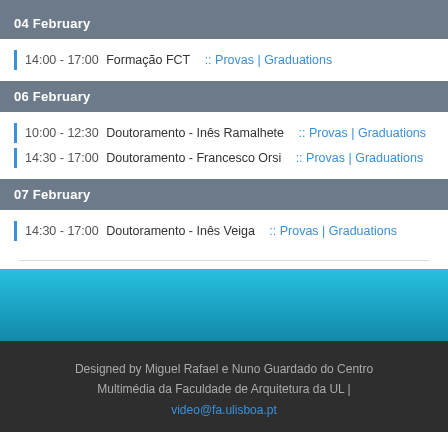04 February
14:00 - 17:00  Formação FCT  ::  Provas | Graduations
06 February
10:00 - 12:30  Doutoramento - Inês Ramalhete  ::  Provas | Graduations
14:30 - 17:00  Doutoramento - Francesco Orsi  ::  Provas | Graduations
07 February
14:30 - 17:00  Doutoramento - Inês Veiga  ::  Provas | Graduations
Designed by Miguel Rafael e Nuno Guardado do Centro Multimédia da Faculdade de Arquitetura da UL | video@fa.ulisboa.pt